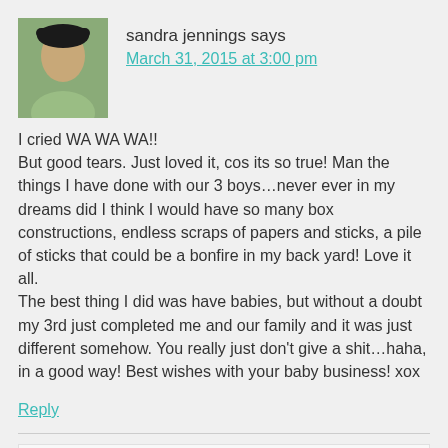sandra jennings says
March 31, 2015 at 3:00 pm
I cried WA WA WA!!
But good tears. Just loved it, cos its so true! Man the things I have done with our 3 boys…never ever in my dreams did I think I would have so many box constructions, endless scraps of papers and sticks, a pile of sticks that could be a bonfire in my back yard! Love it all.
The best thing I did was have babies, but without a doubt my 3rd just completed me and our family and it was just different somehow. You really just don't give a shit…haha, in a good way! Best wishes with your baby business! xox
Reply
Beth says